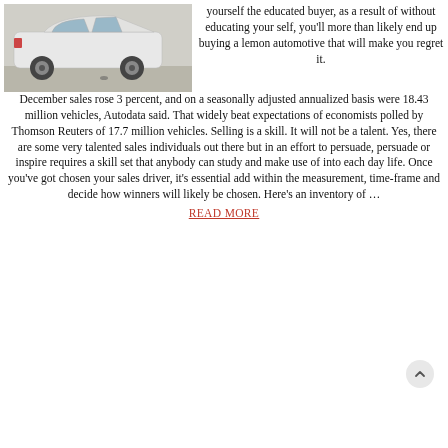[Figure (photo): Photo of a white car (side/rear view) parked outdoors on a sunny day]
yourself the educated buyer, as a result of without educating your self, you'll more than likely end up buying a lemon automotive that will make you regret it. December sales rose 3 percent, and on a seasonally adjusted annualized basis were 18.43 million vehicles, Autodata said. That widely beat expectations of economists polled by Thomson Reuters of 17.7 million vehicles. Selling is a skill. It will not be a talent. Yes, there are some very talented sales individuals out there but in an effort to persuade, persuade or inspire requires a skill set that anybody can study and make use of into each day life. Once you've got chosen your sales driver, it's essential add within the measurement, time-frame and decide how winners will likely be chosen. Here's an inventory of …
READ MORE